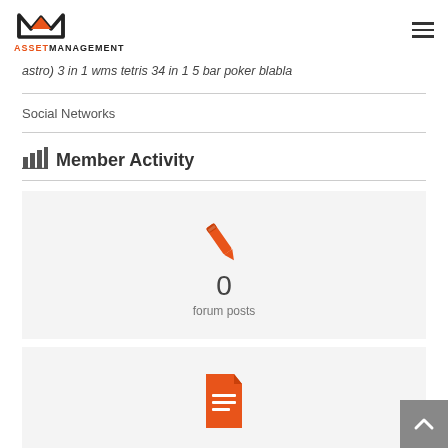ASSET MANAGEMENT
astro) 3 in 1 wms tetris 34 in 1 5 bar poker blabla
Social Networks
Member Activity
[Figure (infographic): Pencil/edit icon in orange above the number 0 and text 'forum posts']
[Figure (infographic): Document/page icon in orange, partially visible at bottom]